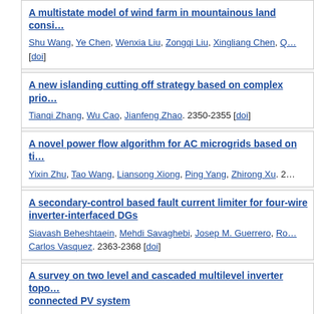A multistate model of wind farm in mountainous land consi...
A new islanding cutting off strategy based on complex prio...
A novel power flow algorithm for AC microgrids based on ti...
A secondary-control based fault current limiter for four-wire inverter-interfaced DGs
A survey on two level and cascaded multilevel inverter topo... connected PV system